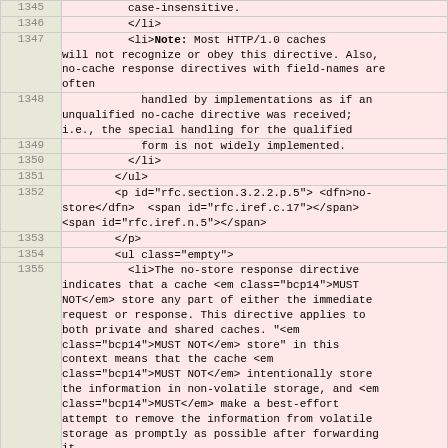| line | code |
| --- | --- |
| 1345 | case-insensitive. |
| 1346 | </li> |
| 1347 | <li><b>Note:</b> Most HTTP/1.0 caches will not recognize or obey this directive. Also, no-cache response directives with field-names are often |
| 1348 |         handled by implementations as if an unqualified no-cache directive was received; i.e., the special handling for the qualified |
| 1349 |             form is not widely implemented. |
| 1350 |     </li> |
| 1351 | </ul> |
| 1352 | <p id="rfc.section.3.2.2.p.5"> <dfn>no-store</dfn>  <span id="rfc.iref.c.17"></span> <span id="rfc.iref.n.5"></span> |
| 1353 | </p> |
| 1354 | <ul class="empty"> |
| 1355 |     <li>The no-store response directive indicates that a cache <em class="bcp14">MUST NOT</em> store any part of either the immediate request or response. This directive applies to both private and shared caches. "<em class="bcp14">MUST NOT</em> store" in this context means that the cache <em class="bcp14">MUST NOT</em> intentionally store the information in non-volatile storage, and <em class="bcp14">MUST</em> make a best-effort attempt to remove the information from volatile storage as promptly as possible after forwarding it. |
| 1356 | </li> |
| 1357 |     <li>This directive is NOT a reliable or sufficient mechanism for ensuring privacy. In particular, malicious or compromised caches |
| 1358 |         might not recognize or obey this directive, and communications networks might be |